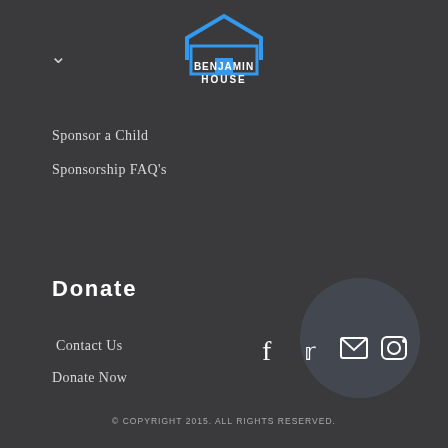[Figure (logo): Benjamin House logo — house icon outline in blue with white text BENJAMIN HOUSE]
Sponsor a Child
Sponsorship FAQ's
Donate
Contact Us
Donate Now
[Figure (infographic): Social media icons: Facebook, Twitter, Mail, Instagram]
© COPYRIGHT 2015. ALL RIGHTS RESERVED.